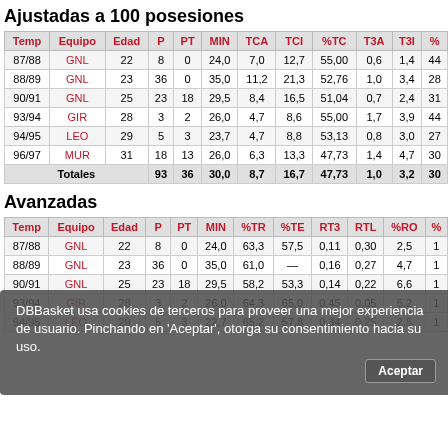Ajustadas a 100 posesiones
| Temp | Equipo | Edad | P | PT | MIN | TCA | TCI | %TC | T3A | T3I | % |
| --- | --- | --- | --- | --- | --- | --- | --- | --- | --- | --- | --- |
| 87/88 | GNL | 22 | 8 | 0 | 24,0 | 7,0 | 12,7 | 55,00 | 0,6 | 1,4 | 44 |
| 88/89 | GNL | 23 | 36 | 0 | 35,0 | 11,2 | 21,3 | 52,76 | 1,0 | 3,4 | 28 |
| 90/91 | GNL | 25 | 23 | 18 | 29,5 | 8,4 | 16,5 | 51,04 | 0,7 | 2,4 | 31 |
| 93/94 | GIR | 28 | 3 | 2 | 26,0 | 4,7 | 8,6 | 55,00 | 1,7 | 3,9 | 44 |
| 94/95 | LEO | 29 | 5 | 3 | 23,7 | 4,7 | 8,8 | 53,13 | 0,8 | 3,0 | 27 |
| 96/97 | MUR | 31 | 18 | 13 | 26,0 | 6,3 | 13,3 | 47,73 | 1,4 | 4,7 | 30 |
| Totales |  |  | 93 | 36 | 30,0 | 8,7 | 16,7 | 47,73 | 1,0 | 3,2 | 30 |
Avanzadas
| Temp | Equipo | Edad | P | PT | MIN | %TR | %TE | RT3 | RTL | %RO | % |
| --- | --- | --- | --- | --- | --- | --- | --- | --- | --- | --- | --- |
| 87/88 | GNL | 22 | 8 | 0 | 24,0 | 63,3 | 57,5 | 0,11 | 0,30 | 2,5 | 1 |
| 88/89 | GNL | 23 | 36 | 0 | 35,0 | 61,0 | — | 0,16 | 0,27 | 4,7 | 1 |
| 90/91 | GNL | 25 | 23 | 18 | 29,5 | 58,2 | 53,3 | 0,14 | 0,22 | 6,6 | 1 |
| 93/94 | GIR | 28 | 3 | 2 | 26,0 | 64,3 | 65,0 | 0,45 | 0,05 | 5,2 | 1 |
| 94/95 | LEO | 29 | 5 | 3 | 22,7 | 65,2 | 57,8 | 0,34 | 0,25 | 2,5 | 1 |
DBBasket usa cookies de terceros para proveer una mejor experiencia de usuario. Pinchando en 'Aceptar', otorga su consentimiento hacia su uso.